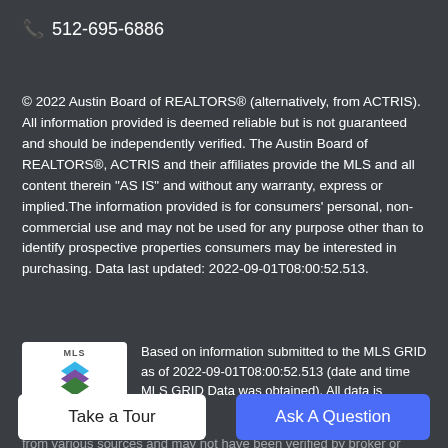📞 512-695-6886
© 2022 Austin Board of REALTORS® (alternatively, from ACTRIS). All information provided is deemed reliable but is not guaranteed and should be independently verified. The Austin Board of REALTORS®, ACTRIS and their affiliates provide the MLS and all content therein "AS IS" and without any warranty, express or implied.The information provided is for consumers' personal, non-commercial use and may not be used for any purpose other than to identify prospective properties consumers may be interested in purchasing. Data last updated: 2022-09-01T08:00:52.513.
[Figure (logo): MLS GRID logo - white background with colorful stacked diamond shapes and text 'MLS GRID']
Based on information submitted to the MLS GRID as of 2022-09-01T08:00:52.513 (date and time MLS GRID Data was obtained). All data is obtained from various sources and may not have been verified by broker or MLS GRID.